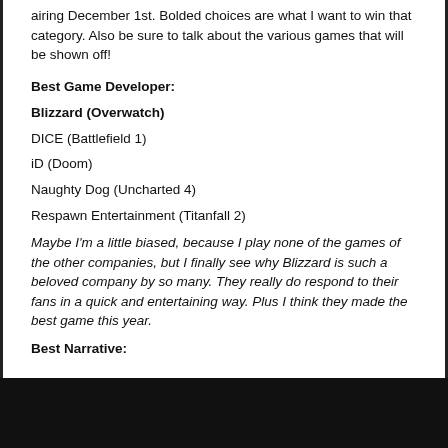airing December 1st. Bolded choices are what I want to win that category. Also be sure to talk about the various games that will be shown off!
Best Game Developer:
Blizzard (Overwatch)
DICE (Battlefield 1)
iD (Doom)
Naughty Dog (Uncharted 4)
Respawn Entertainment (Titanfall 2)
Maybe I'm a little biased, because I play none of the games of the other companies, but I finally see why Blizzard is such a beloved company by so many. They really do respond to their fans in a quick and entertaining way. Plus I think they made the best game this year.
Best Narrative: